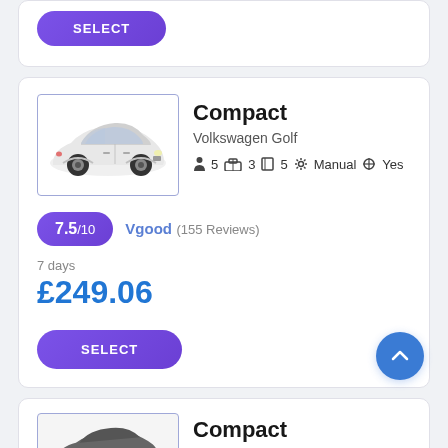[Figure (screenshot): Car rental listing page showing two compact car cards. First card (partial top): SELECT button. Second card (main): Volkswagen Golf compact car with image, specs, rating 7.5/10 Vgood (155 Reviews), 7 days price £249.06, SELECT button. Third card (partial bottom): Compact car with dark image.]
SELECT
Compact
Volkswagen Golf
5  3  5  Manual  Yes
7.5/10  Vgood (155 Reviews)
7 days
£249.06
SELECT
Compact